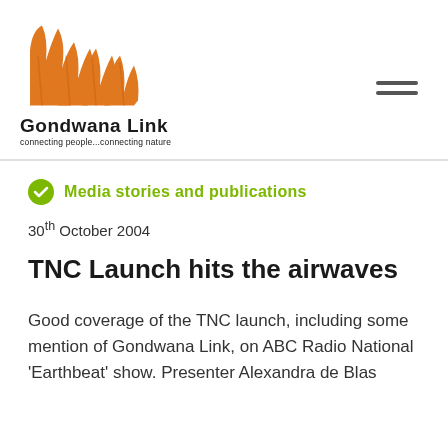[Figure (logo): Gondwana Link logo — orange tree/leaf shapes above the text 'Gondwana Link' and tagline 'connecting people...connecting nature']
Media stories and publications
30th October 2004
TNC Launch hits the airwaves
Good coverage of the TNC launch, including some mention of Gondwana Link, on ABC Radio National 'Earthbeat' show. Presenter Alexandra de Blas